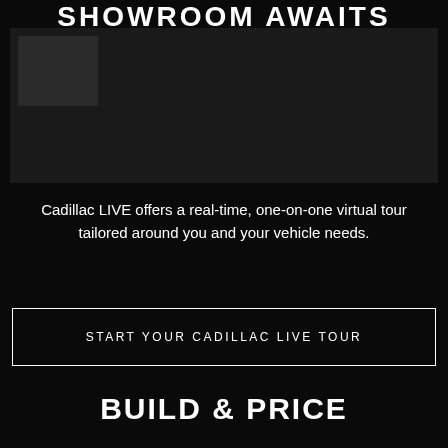SHOWROOM AWAITS
[Figure (photo): Dark showroom or vehicle image, mostly black]
Cadillac LIVE offers a real-time, one-on-one virtual tour tailored around you and your vehicle needs.
START YOUR CADILLAC LIVE TOUR
BUILD & PRICE